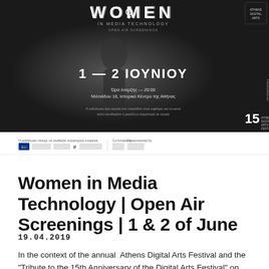[Figure (photo): Event poster for 'Women in Media Technology' open air screenings. Dark background with a silhouette of a person. Text reads: WOMEN IN MEDIA TECHNOLOGY, 1 — 2 ΙΟΥΝΙΟΥ, Ώρα έναρξης — 20:00, Μιλτιάδου 18, Ιστορικό Κέντρο της Αθήνας. Bottom right shows '15' anniversary logo for Athens Digital Arts Festival. Sponsor logos along the bottom.]
Women in Media Technology | Open Air Screenings | 1 & 2 of June
19.04.2019
In the context of the annual Athens Digital Arts Festival and the "Tribute to the 15th Anniversary of the Digital Arts Festival" on June 1 and 2, 2019, the